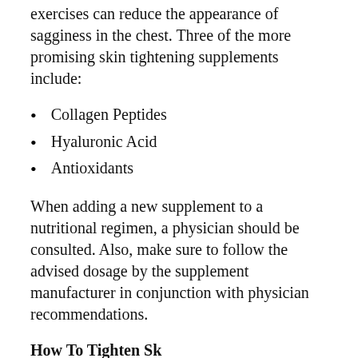exercises can reduce the appearance of sagginess in the chest. Three of the more promising skin tightening supplements include:
Collagen Peptides
Hyaluronic Acid
Antioxidants
When adding a new supplement to a nutritional regimen, a physician should be consulted. Also, make sure to follow the advised dosage by the supplement manufacturer in conjunction with physician recommendations.
How To Tighten Sk...